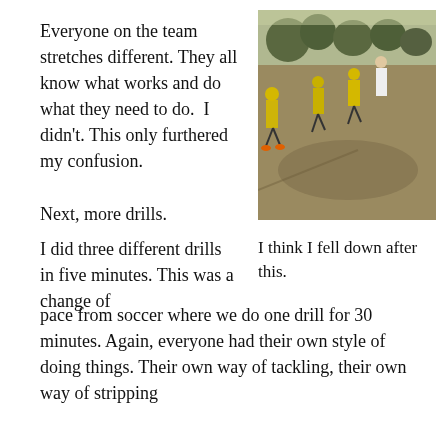Everyone on the team stretches different. They all know what works and do what they need to do.  I didn't. This only furthered my confusion.

Next, more drills.
[Figure (photo): Football players on a grass field doing drills, with a coach in white shirt directing them. Trees visible in background.]
I did three different drills in five minutes. This was a change of
I think I fell down after this.
pace from soccer where we do one drill for 30 minutes. Again, everyone had their own style of doing things. Their own way of tackling, their own way of stripping